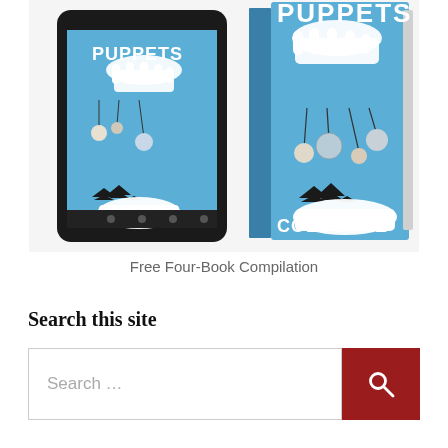[Figure (photo): Book cover image showing both a tablet e-reader and a physical paperback of 'Puppets' by Colborne. The cover features a blue background with illustrated hands manipulating planets and trees like puppets on strings.]
Free Four-Book Compilation
Search this site
Search ...